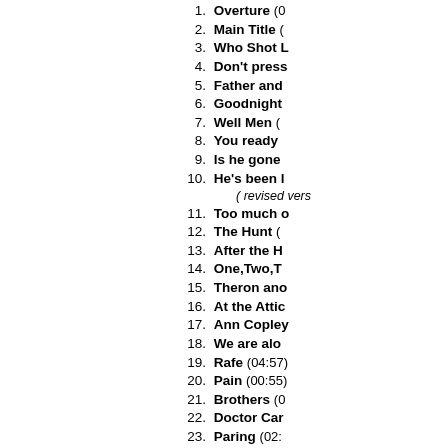1. Overture (
2. Main Title (
3. Who Shot L
4. Don't press
5. Father and
6. Goodnight
7. Well Men (
8. You ready
9. Is he gone
10. He's been l
( revised vers
11. Too much o
12. The Hunt (
13. After the H
14. One,Two,T
15. Theron ano
16. At the Attic
17. Ann Copley
18. We are alo
19. Rafe (04:57)
20. Pain (00:55)
21. Brothers (0
22. Doctor Car
23. Paring (02:
24. Albert (01:4
25. I'll fix it (01:
( revised vers
26. Juke Box (
27. Private (01:
28. About Them
29. Hope (01:14
30. Death (06:5
31. Getting Da